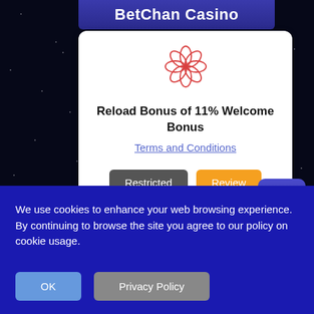BetChan Casino
[Figure (illustration): Red decorative flower/lotus icon in outline style]
Reload Bonus of 11% Welcome Bonus
Terms and Conditions
Restricted
Review
Top
We use cookies to enhance your web browsing experience. By continuing to browse the site you agree to our policy on cookie usage.
OK
Privacy Policy